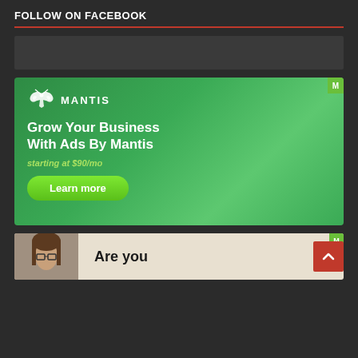FOLLOW ON FACEBOOK
[Figure (screenshot): Grey placeholder box for Facebook follow widget]
[Figure (infographic): Mantis ad: green background with Mantis logo, headline 'Grow Your Business With Ads By Mantis', subtext 'starting at $90/mo', and a 'Learn more' green button]
[Figure (photo): Second Mantis ad showing a woman with glasses on a beige background with text 'Are you']